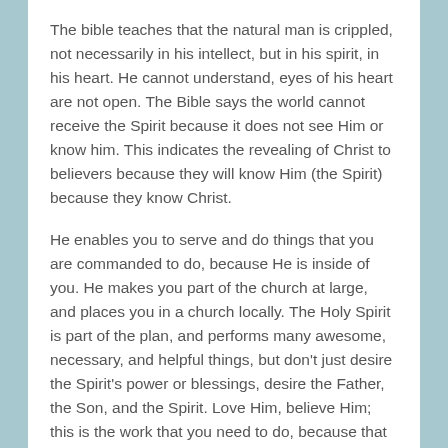The bible teaches that the natural man is crippled, not necessarily in his intellect, but in his spirit, in his heart. He cannot understand, eyes of his heart are not open. The Bible says the world cannot receive the Spirit because it does not see Him or know him. This indicates the revealing of Christ to believers because they will know Him (the Spirit) because they know Christ.
He enables you to serve and do things that you are commanded to do, because He is inside of you. He makes you part of the church at large, and places you in a church locally. The Holy Spirit is part of the plan, and performs many awesome, necessary, and helpful things, but don't just desire the Spirit's power or blessings, desire the Father, the Son, and the Spirit. Love Him, believe Him; this is the work that you need to do, because that work will make all things better for...